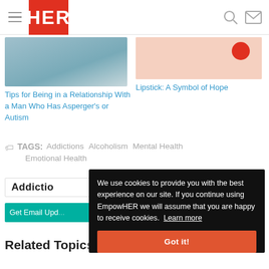HER
[Figure (photo): Two women smiling outdoors]
Tips for Being in a Relationship With a Man Who Has Asperger's or Autism
[Figure (photo): Peach/pink background with a red circle, partial lipstick image]
Lipstick: A Symbol of Hope
TAGS: Addictions  Alcoholism  Mental Health  Emotional Health
Addictio...
Get Email Upd...
We use cookies to provide you with the best experience on our site. If you continue using EmpowHER we will assume that you are happy to receive cookies.  Learn more
Got it!
Related Topics